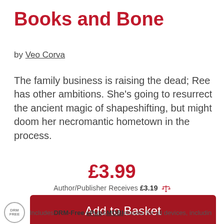Books and Bone
by Veo Corva
The family business is raising the dead; Ree has other ambitions. She's going to resurrect the ancient magic of shapeshifting, but might doom her necromantic hometown in the process.
£3.99
Author/Publisher Receives £3.19
Add to Basket
Includes DRM-Free ePub & MOBI ebooks for all devices, includin